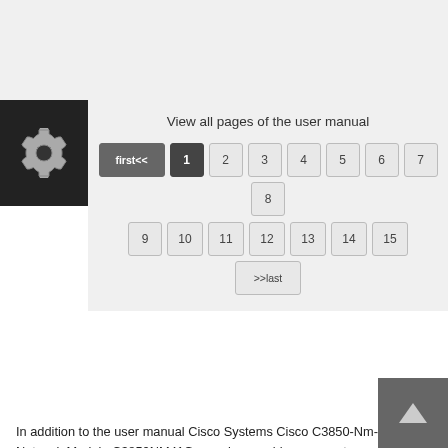[Figure (other): Gear/settings icon in black box]
View all pages of the user manual
first<< 1 2 3 4 5 6 7 8 9 10 11 12 13 14 15 >>last
In addition to the user manual Cisco Systems Cisco C3850-Nm-4-1g Network Module C3850NM41G, we also provide a support panel to help you solve your problems with Cisco Systems Cisco C3850-Nm-4-1g Network Module C3850NM41G. If you have any questions, you can ask them in the form below. Other users viewing this website will have the opportunity to help you solve your probem with Cisco Systems Cisco C3850-Nm-4-1g Network Module C3850NM41G. Remember that you can also share the solution. If you solved the problem yourself, please write the solution to the problem with Cisco Systems Cisco C3850-Nm-4-1g Network Module C3850NM41G - you will surely help many users by doing so.